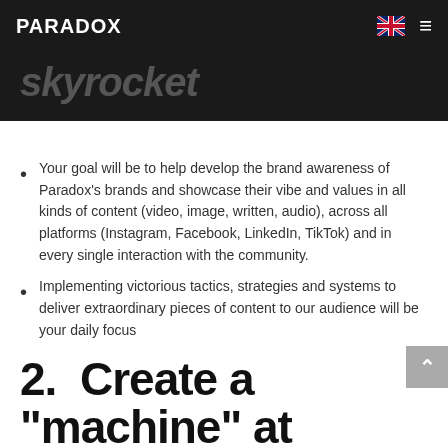PARADOX
skyrocket
Your goal will be to help develop the brand awareness of Paradox’s brands and showcase their vibe and values in all kinds of content (video, image, written, audio), across all platforms (Instagram, Facebook, LinkedIn, TikTok) and in every single interaction with the community.
Implementing victorious tactics, strategies and systems to deliver extraordinary pieces of content to our audience will be your daily focus
2.  Create a “machine” at producing AWE for